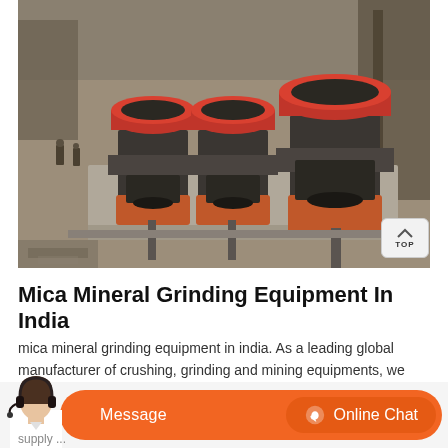[Figure (photo): Aerial/overhead photo of industrial mining grinding equipment with three cone crushers with red/orange tops mounted on concrete platforms at a mining site in India. Workers visible in background.]
Mica Mineral Grinding Equipment In India
mica mineral grinding equipment in india. As a leading global manufacturer of crushing, grinding and mining equipments, we offer advanced, reasonable solutions for any size-reduction requirements supply ...